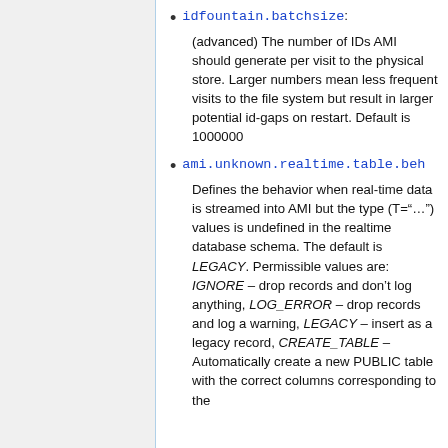idfountain.batchsize: (advanced) The number of IDs AMI should generate per visit to the physical store. Larger numbers mean less frequent visits to the file system but result in larger potential id-gaps on restart. Default is 1000000
ami.unknown.realtime.table.beh... Defines the behavior when real-time data is streamed into AMI but the type (T="...") values is undefined in the realtime database schema. The default is LEGACY. Permissible values are: IGNORE - drop records and don't log anything, LOG_ERROR - drop records and log a warning, LEGACY - insert as a legacy record, CREATE_TABLE - Automatically create a new PUBLIC table with the correct columns corresponding to the